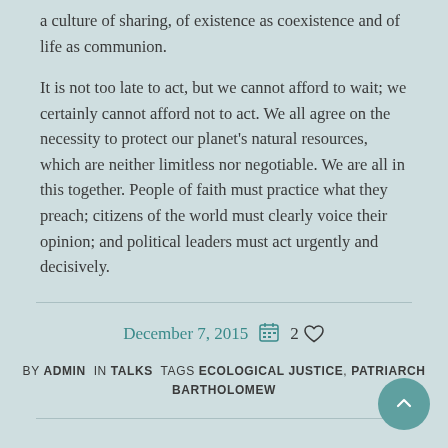a culture of sharing, of existence as coexistence and of life as communion.
It is not too late to act, but we cannot afford to wait; we certainly cannot afford not to act. We all agree on the necessity to protect our planet's natural resources, which are neither limitless nor negotiable. We are all in this together. People of faith must practice what they preach; citizens of the world must clearly voice their opinion; and political leaders must act urgently and decisively.
December 7, 2015  2
BY ADMIN  IN TALKS  TAGS ECOLOGICAL JUSTICE, PATRIARCH BARTHOLOMEW